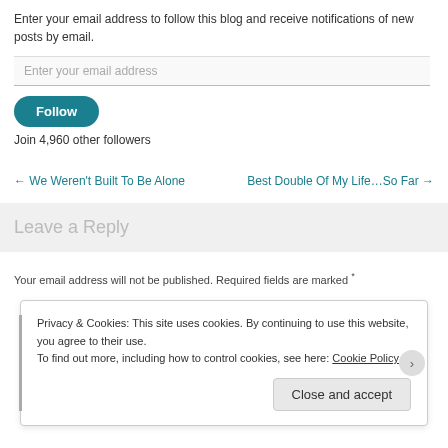Enter your email address to follow this blog and receive notifications of new posts by email.
Enter your email address
Follow
Join 4,960 other followers
← We Weren't Built To Be Alone
Best Double Of My Life…So Far →
Leave a Reply
Your email address will not be published. Required fields are marked *
Privacy & Cookies: This site uses cookies. By continuing to use this website, you agree to their use.
To find out more, including how to control cookies, see here: Cookie Policy
Close and accept